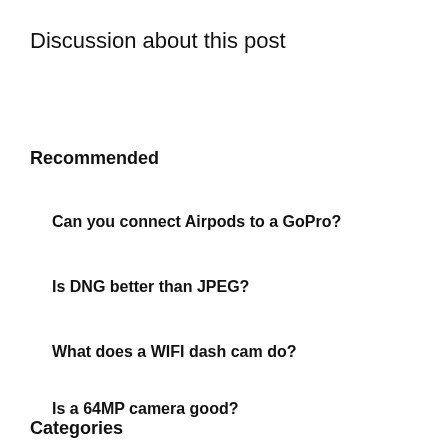Discussion about this post
Recommended
Can you connect Airpods to a GoPro?
Is DNG better than JPEG?
What does a WIFI dash cam do?
Is a 64MP camera good?
Categories